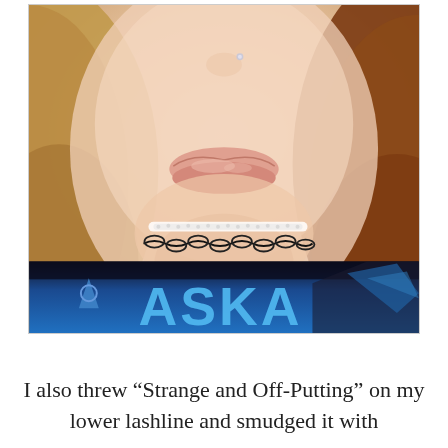[Figure (photo): Close-up selfie photo of a young woman showing her lower face and neck area. She has light skin, glossy pink-nude lips, a nose piercing, and long auburn/blonde hair. She is wearing layered choker necklaces (a white lace choker and a black chain-link choker) and a dark shirt with 'ASKA' or 'ALASKA' text visible at the bottom in blue letters.]
I also threw “Strange and Off-Putting” on my lower lashline and smudged it with